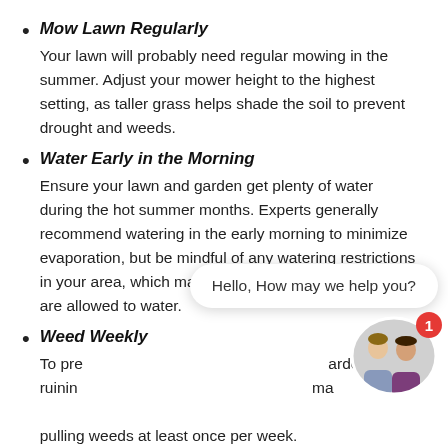Mow Lawn Regularly — Your lawn will probably need regular mowing in the summer. Adjust your mower height to the highest setting, as taller grass helps shade the soil to prevent drought and weeds.
Water Early in the Morning — Ensure your lawn and garden get plenty of water during the hot summer months. Experts generally recommend watering in the early morning to minimize evaporation, but be mindful of any watering restrictions in your area, which may limit the time and/or days you are allowed to water.
Weed Weekly — To prevent weeds from taking over your garden and ruining your hard work, make a habit of pulling weeds at least once per week.
Exterminate Pests
[Figure (photo): Chat widget overlay with speech bubble saying 'Hello, How may we help you?' and two people avatars with a red notification badge showing '1']